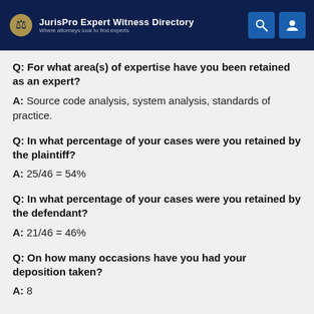JurisPro Expert Witness Directory — Where attorneys look to find experts
Q: For what area(s) of expertise have you been retained as an expert?
A: Source code analysis, system analysis, standards of practice.
Q: In what percentage of your cases were you retained by the plaintiff?
A: 25/46 = 54%
Q: In what percentage of your cases were you retained by the defendant?
A: 21/46 = 46%
Q: On how many occasions have you had your deposition taken?
A: 8